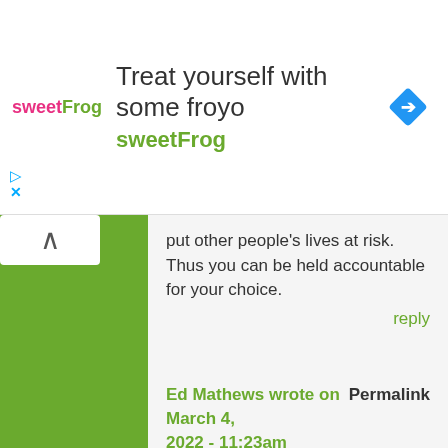[Figure (screenshot): sweetFrog frozen yogurt advertisement banner with logo, headline 'Treat yourself with some froyo', brand name 'sweetFrog', and a blue diamond navigation icon]
put other people's lives at risk. Thus you can be held accountable for your choice.
reply
Ed Mathews wrote on March 4, 2022 - 11:23am    Permalink
My 2017 C-rv has done this several times. Happened just yesterday on the hwy. It has mainly occurred when applying “normal” pressure to brake pedal
reply